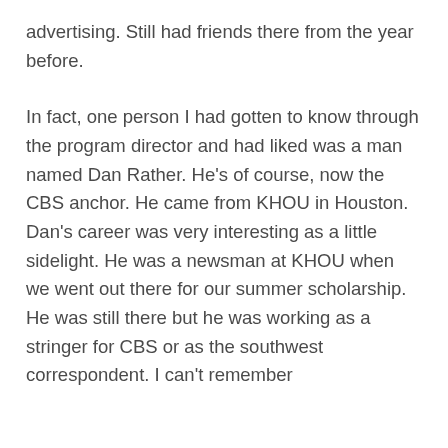advertising. Still had friends there from the year before.
In fact, one person I had gotten to know through the program director and had liked was a man named Dan Rather. He's of course, now the CBS anchor. He came from KHOU in Houston. Dan's career was very interesting as a little sidelight. He was a newsman at KHOU when we went out there for our summer scholarship. He was still there but he was working as a stringer for CBS or as the southwest correspondent. I can't remember